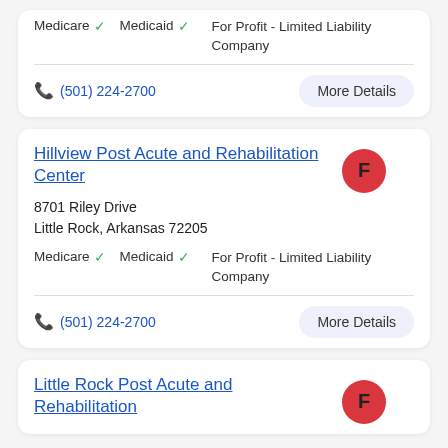Medicare ✓  Medicaid ✓  For Profit - Limited Liability Company
(501) 224-2700  More Details
Hillview Post Acute and Rehabilitation Center
8701 Riley Drive
Little Rock, Arkansas 72205
Medicare ✓  Medicaid ✓  For Profit - Limited Liability Company
(501) 224-2700  More Details
Little Rock Post Acute and Rehabilitation